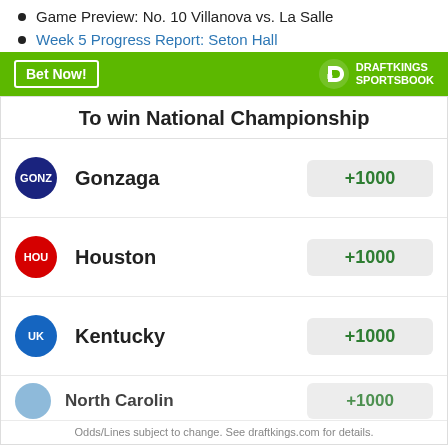Game Preview: No. 10 Villanova vs. La Salle
Week 5 Progress Report: Seton Hall
[Figure (infographic): DraftKings Sportsbook green banner with Bet Now! button and DraftKings logo]
To win National Championship
| Team | Odds |
| --- | --- |
| Gonzaga | +1000 |
| Houston | +1000 |
| Kentucky | +1000 |
| North Carolina | +1000 |
Odds/Lines subject to change. See draftkings.com for details.
MORE FROM BIG EAST COAST BIAS
Big East offer tracker update (August 29): Xavier, UConn land commitments, final cuts, new offers and more!